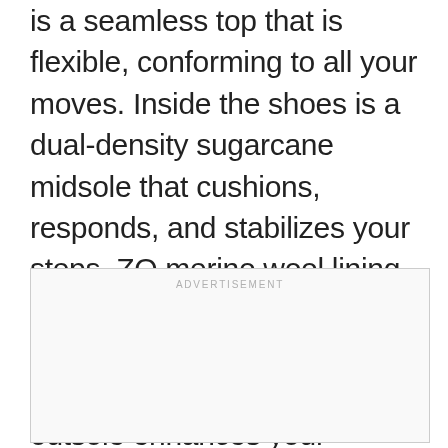is a seamless top that is flexible, conforming to all your moves. Inside the shoes is a dual-density sugarcane midsole that cushions, responds, and stabilizes your steps. ZQ merino wool lining at the heel counter keeps your feet firm despite your strides. And a flared natural rubber outsole enhances your stability while guarding against pronation.
[Figure (other): Advertisement placeholder box with 'ADVERTISEMENT' label at top center]